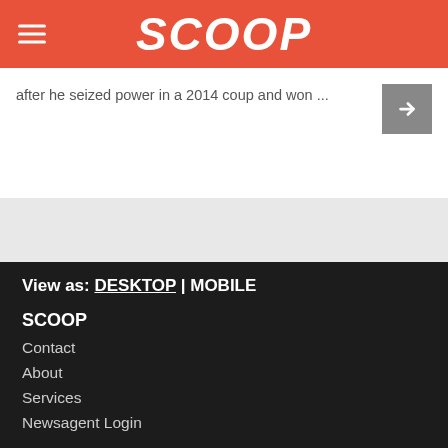SCOOP
after he seized power in a 2014 coup and won ...
View as: DESKTOP | MOBILE
SCOOP
Contact
About
Services
Newsagent Login